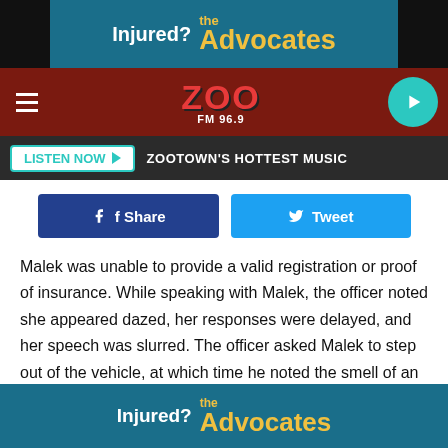[Figure (screenshot): Top advertisement banner for 'the Advocates' injury lawyers with teal background]
[Figure (logo): ZOO FM 96.9 radio station header with dark red background, hamburger menu, logo, and teal play button]
[Figure (screenshot): Listen Now button bar with dark background and ZOOTOWN'S HOTTEST MUSIC label]
[Figure (screenshot): Facebook Share and Twitter Tweet social media buttons]
Malek was unable to provide a valid registration or proof of insurance. While speaking with Malek, the officer noted she appeared dazed, her responses were delayed, and her speech was slurred. The officer asked Malek to step out of the vehicle, at which time he noted the smell of an alcoholic beverage coming from her person.
Malek agreed to provide a breath sample and the sample
[Figure (screenshot): Bottom advertisement banner for 'the Advocates' injury lawyers with teal background]